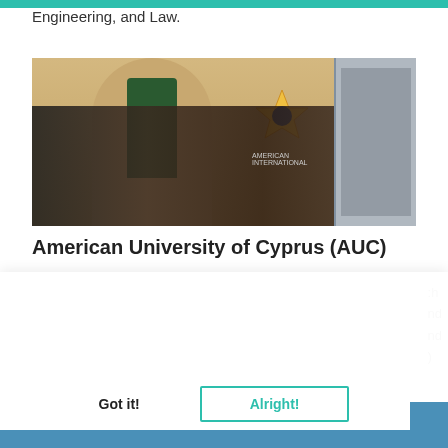Engineering, and Law.
[Figure (photo): Group of students standing outside a building with a stone arch and ornate doorway at the American University of Cyprus campus]
American University of Cyprus (AUC)
RocApply uses Cookies to ensure you get the best experience on our Website and over the Web.  Data Privacy
Got it!
Alright!